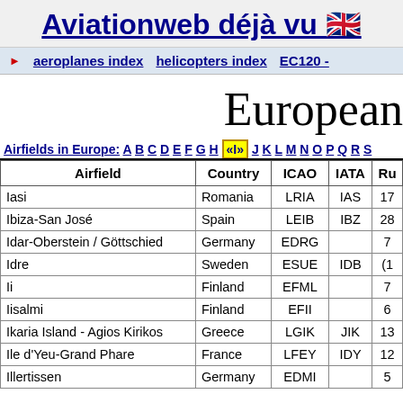Aviationweb déjà vu
aeroplanes index   helicopters index   EC120 -
European
Airfields in Europe: A B C D E F G H «I» J K L M N O P Q R S
| Airfield | Country | ICAO | IATA | Ru |
| --- | --- | --- | --- | --- |
| Iasi | Romania | LRIA | IAS | 17 |
| Ibiza-San José | Spain | LEIB | IBZ | 28 |
| Idar-Oberstein / Göttschied | Germany | EDRG |  | 7 |
| Idre | Sweden | ESUE | IDB | (1 |
| Ii | Finland | EFML |  | 7 |
| Iisalmi | Finland | EFII |  | 6 |
| Ikaria Island - Agios Kirikos | Greece | LGIK | JIK | 13 |
| Ile d'Yeu-Grand Phare | France | LFEY | IDY | 12 |
| Illertissen | Germany | EDMI |  | 5 |